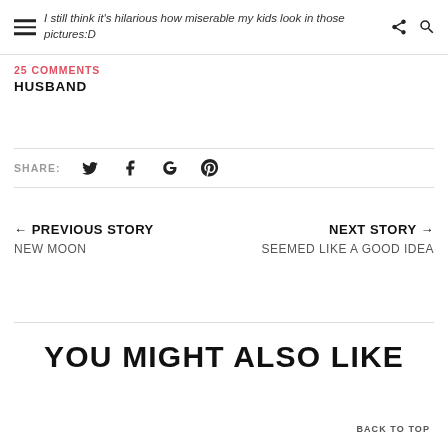I still think it's hilarious how miserable my kids look in those pictures:D
25 COMMENTS
HUSBAND
SHARE:
← PREVIOUS STORY NEW MOON
NEXT STORY → SEEMED LIKE A GOOD IDEA
YOU MIGHT ALSO LIKE
BACK TO TOP